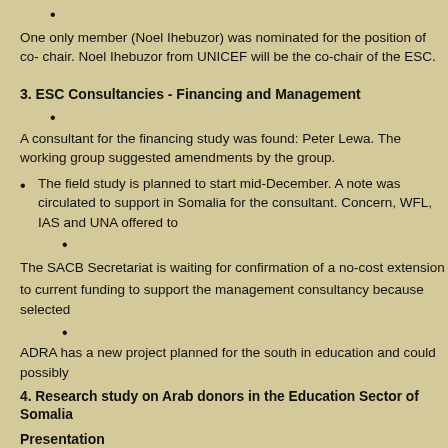One only member (Noel Ihebuzor) was nominated for the position of co- chair. Noel Ihebuzor from UNICEF will be the co-chair of the ESC.
3. ESC Consultancies - Financing and Management
A consultant for the financing study was found: Peter Lewa. The working group suggested amendments by the group.
The field study is planned to start mid-December. A note was circulated to support in Somalia for the consultant. Concern, WFL, IAS and UNA offered to
The SACB Secretariat is waiting for confirmation of a no-cost extension
to current funding to support the management consultancy because selected
ADRA has a new project planned for the south in education and could possibly
4. Research study on Arab donors in the Education Sector of Somalia
Presentation
The study has been conducted by Novib (Oxfam Netherland) and WAMY (W